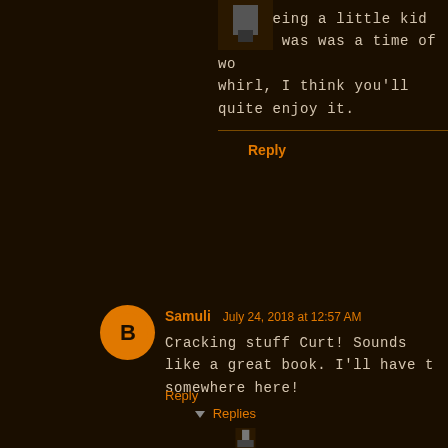Yes, being a little kid in '77 was was a time of wo... whirl, I think you'll quite enjoy it.
Reply
Samuli  July 24, 2018 at 12:57 AM
Cracking stuff Curt! Sounds like a great book. I'll have t... somewhere here!
Reply
Replies
[Figure (photo): Small square black and white avatar photo of Curt]
Curt  ✏  July 24, 2018 at 10:01 AM
Thanks Samuli! I hope you can find a copy - it's a fu...
Reply
[Figure (photo): Small square avatar photo of Simon Quinton]
Simon Quinton  July 24, 2018 at 1:24 AM